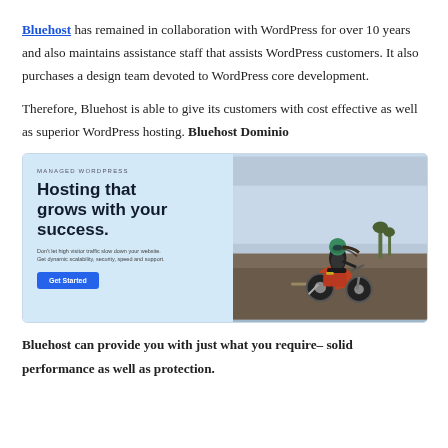Bluehost has remained in collaboration with WordPress for over 10 years and also maintains assistance staff that assists WordPress customers. It also purchases a design team devoted to WordPress core development.
Therefore, Bluehost is able to give its customers with cost effective as well as superior WordPress hosting. Bluehost Dominio
[Figure (screenshot): Bluehost Managed WordPress hosting advertisement banner showing headline 'Hosting that grows with your success.' with Get Started button on left side, and a photo of a person riding a motorcycle on right side.]
Bluehost can provide you with just what you require– solid performance as well as protection.